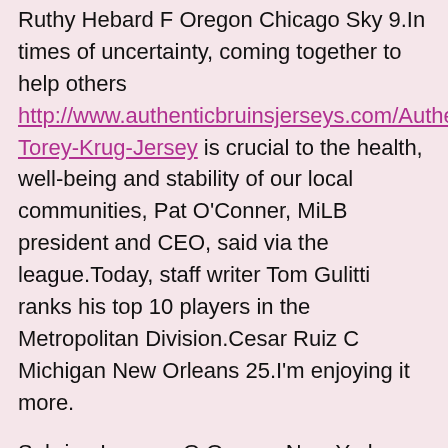Ruthy Hebard F Oregon Chicago Sky 9.In times of uncertainty, coming together to help others http://www.authenticbruinsjerseys.com/Authentic-Torey-Krug-Jersey is crucial to the health, well-being and stability of our local communities, Pat O'Conner, MiLB president and CEO, said via the league.Today, staff writer Tom Gulitti ranks his top 10 players in the Metropolitan Division.Cesar Ruiz C Michigan New Orleans 25.I'm enjoying it more.
Sabrina Ionesco G Oregon New York Liberty 2.Naomi Osaka 4.You can see what they're doing, but they do it really well with good players, and they give you all the things that are tough on different coverages.Full story here.But no matter what's said during the buildup toward this fight, nothing can cross the line and get more personal than the fight itself.
Opening statement: OK, good to see everybody �?